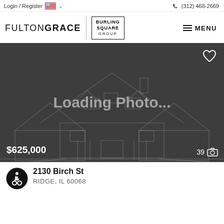Login / Register  (312) 468-2669
[Figure (logo): FultonGrace Burling Square Group logo with menu button]
[Figure (photo): Loading Photo placeholder showing dark gray background with house outline watermark, price $625,000 and 39 photo count]
2130 Birch St
RIDGE, IL 60068